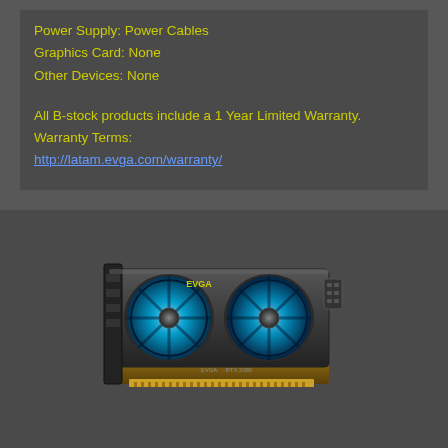Power Supply: Power Cables
Graphics Card: None
Other Devices: None
All B-stock products include a 1 Year Limited Warranty. Warranty Terms: http://latam.evga.com/warranty/
[Figure (photo): EVGA graphics card (GPU) with blue-lit triple fans and EVGA branding, shown at an angle on white background]